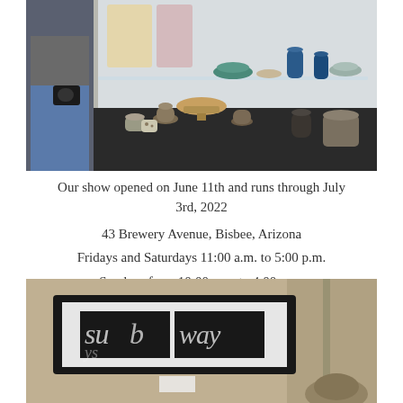[Figure (photo): Photo of a person with a camera standing near a display shelf with ceramic bowls, vases, and pottery pieces on a dark table, with a glass shelf above holding more ceramics and blue vases, in what appears to be an art gallery.]
Our show opened on June 11th and runs through July 3rd, 2022
43 Brewery Avenue, Bisbee, Arizona
Fridays and Saturdays 11:00 a.m. to 5:00 p.m.
Sundays from 10:00 a.m. to 4:00 p.m.
[Figure (photo): Photo of a framed artwork on a wall showing the word 'subway' in stylized lettering across what appears to be a diptych print, with white matting and a black frame, mounted on a beige/tan wall.]